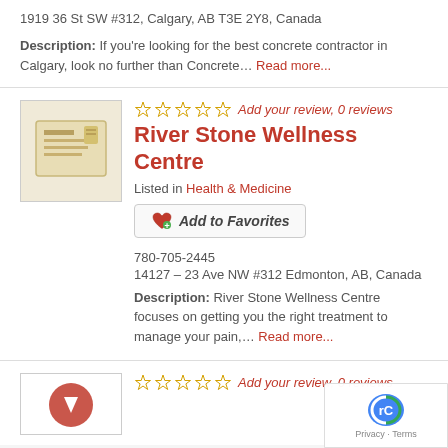1919 36 St SW #312, Calgary, AB T3E 2Y8, Canada
Description: If you're looking for the best concrete contractor in Calgary, look no further than Concrete… Read more...
[Figure (other): Placeholder thumbnail for River Stone Wellness Centre listing]
Add your review, 0 reviews
River Stone Wellness Centre
Listed in Health & Medicine
Add to Favorites
780-705-2445
14127 – 23 Ave NW #312 Edmonton, AB, Canada
Description: River Stone Wellness Centre focuses on getting you the right treatment to manage your pain,… Read more...
[Figure (other): Red logo thumbnail for third listing]
Add your review, 0 reviews